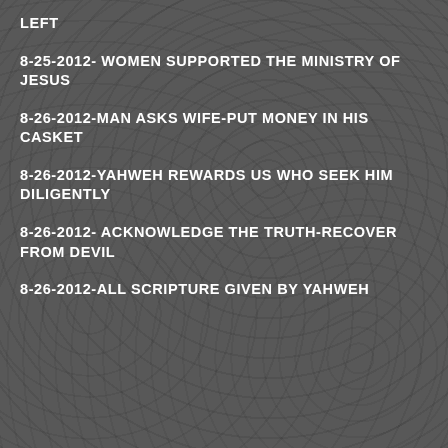LEFT
8-25-2012- WOMEN SUPPORTED THE MINISTRY OF JESUS
8-26-2012-MAN ASKS WIFE-PUT MONEY IN HIS CASKET
8-26-2012-YAHWEH REWARDS US WHO SEEK HIM DILIGENTLY
8-26-2012- ACKNOWLEDGE THE TRUTH-RECOVER FROM DEVIL
8-26-2012-ALL SCRIPTURE GIVEN BY YAHWEH